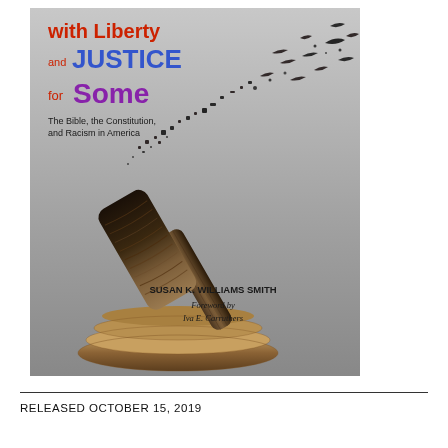[Figure (illustration): Book cover for 'With Liberty and Justice for Some: The Bible, the Constitution, and Racism in America' by Susan K. Williams Smith, Foreword by Iva E. Carruthers. Cover shows a judge's gavel with the head disintegrating into flying birds against a grey background.]
RELEASED OCTOBER 15, 2019